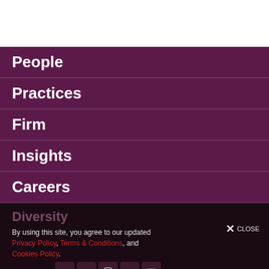People
Practices
Firm
Insights
Careers
Diversity
By using this site, you agree to our updated Privacy Policy, Terms & Conditions, and Cookies Policy.
Subscribe